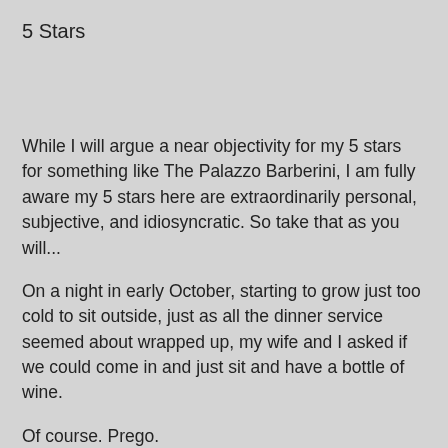5 Stars
While I will argue a near objectivity for my 5 stars for something like The Palazzo Barberini, I am fully aware my 5 stars here are extraordinarily personal, subjective, and idiosyncratic. So take that as you will...
On a night in early October, starting to grow just too cold to sit outside, just as all the dinner service seemed about wrapped up, my wife and I asked if we could come in and just sit and have a bottle of wine.
Of course. Prego.
We picked out one of the cheapest, happily a Shiraz, maybe 35 Euros. Heat lamps every once in awhile wafted some precious warmth at us where we sat on the edge of the roof. They gave us marcona almonds, the nicest bowl of nuts we